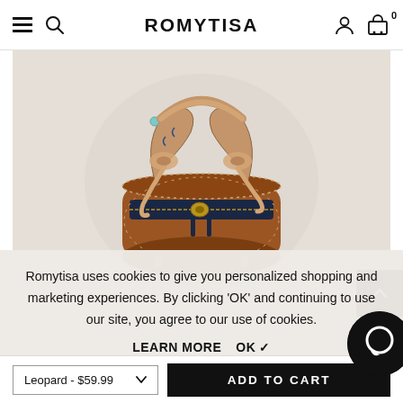ROMYTISA — navigation header with hamburger menu, search, account, and cart icons
[Figure (photo): A tan/cognac leather handbag with a decorative silk scarf handle, gold zipper hardware, and dark navy zipper trim on a beige/cream background]
Romytisa uses cookies to give you personalized shopping and marketing experiences. By clicking 'OK' and continuing to use our site, you agree to our use of cookies.
LEARN MORE  OK ✓
Leopard - $59.99  ADD TO CART